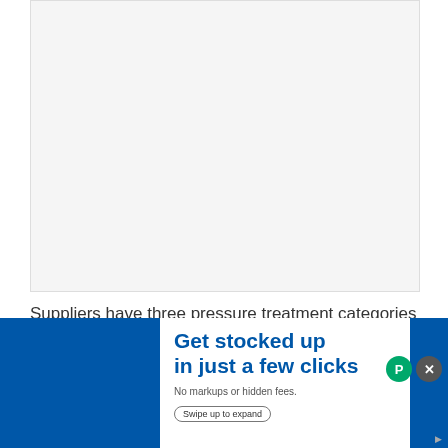[Figure (other): Image placeholder area (top of page, content not visible)]
Suppliers have three pressure treatment categories for lumber.
Waterborne Chemical Infusion primarily works for wood in residential, commercial, and industrial construction.
Creosote Treatment is suitable for marine timber structures, railway ties, and guardrail